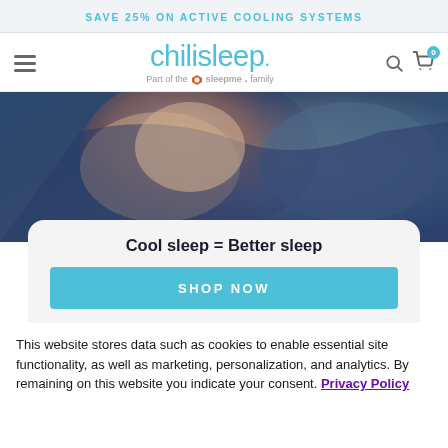SAVE 25% ON ACTIVE COOLING SYSTEMS
[Figure (screenshot): ChiliSleep navigation bar with hamburger menu, logo reading 'chilisleep. Part of the sleepme family', search icon, and cart icon with badge 0]
[Figure (photo): Close-up photo of a person sleeping, wrapped in dark blue bedding]
Cool sleep = Better sleep
SHOP NOW
This website stores data such as cookies to enable essential site functionality, as well as marketing, personalization, and analytics. By remaining on this website you indicate your consent. Privacy Policy